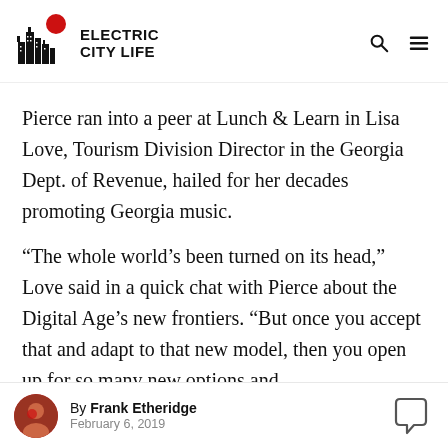Electric City Life
Pierce ran into a peer at Lunch & Learn in Lisa Love, Tourism Division Director in the Georgia Dept. of Revenue, hailed for her decades promoting Georgia music.
“The whole world’s been turned on its head,” Love said in a quick chat with Pierce about the Digital Age’s new frontiers. “But once you accept that and adapt to that new model, then you open up for so many new options and
By Frank Etheridge
February 6, 2019